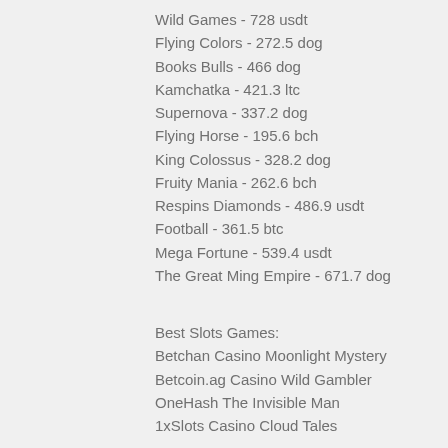Wild Games - 728 usdt
Flying Colors - 272.5 dog
Books Bulls - 466 dog
Kamchatka - 421.3 ltc
Supernova - 337.2 dog
Flying Horse - 195.6 bch
King Colossus - 328.2 dog
Fruity Mania - 262.6 bch
Respins Diamonds - 486.9 usdt
Football - 361.5 btc
Mega Fortune - 539.4 usdt
The Great Ming Empire - 671.7 dog
Best Slots Games:
Betchan Casino Moonlight Mystery
Betcoin.ag Casino Wild Gambler
OneHash The Invisible Man
1xSlots Casino Cloud Tales
https://www.seedsoundherbals.com/profile/lu...